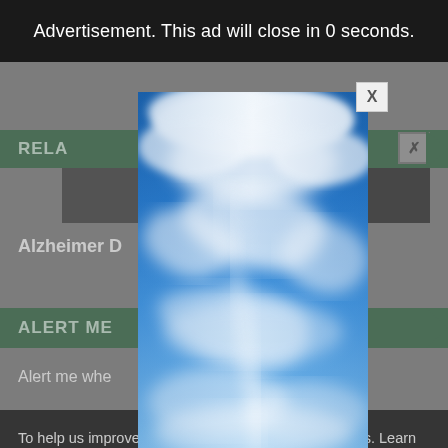Advertisement. This ad will close in 0 seconds.
RELA
Alzheimer D
Vith HIV
ALERT ME
Alert me whe
To help us improve y his website uses cookies. Learn more your settings in our Cookie Policy. You ca
CONTINUE
FIN
[Figure (photo): Modal advertisement popup showing a blue sky with swirling white clouds photo, overlaid on a medical/health website page with related articles and cookie consent banner]